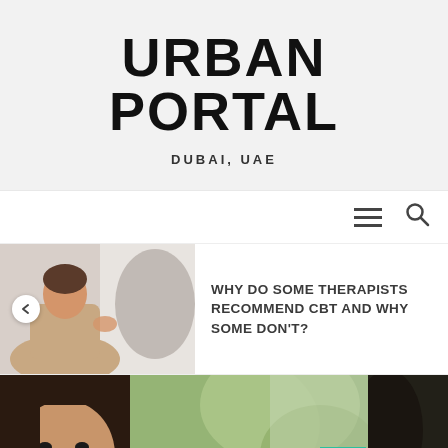URBAN PORTAL
DUBAI, UAE
[Figure (screenshot): Navigation bar with hamburger menu icon and search icon]
[Figure (photo): Two people in a therapy session, one gesturing with hand]
WHY DO SOME THERAPISTS RECOMMEND CBT AND WHY SOME DON'T?
[Figure (photo): Young woman with long dark hair outdoors with green bokeh background; partial dark figure on right edge]